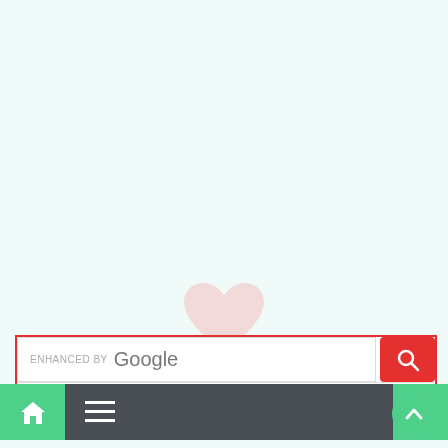[Figure (illustration): Faint pink heart watermark/icon centered on the page]
[Figure (screenshot): Google search bar with 'ENHANCED BY Google' placeholder text and a red search button with magnifying glass icon]
[Figure (screenshot): Navigation bar with green home icon on left, dark gray center with hamburger menu icon, green search icon on right]
[Figure (illustration): Green circular scroll-to-top button with upward chevron arrow, bottom right corner]